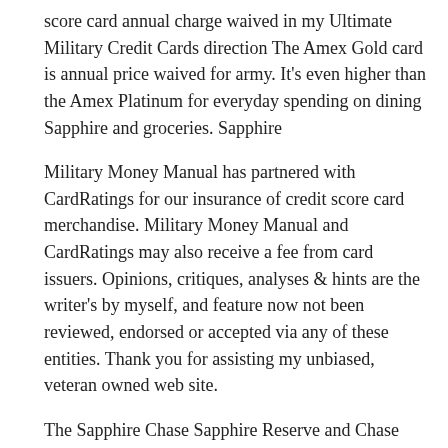score card annual charge waived in my Ultimate Military Credit Cards direction The Amex Gold card is annual price waived for army. It's even higher than the Amex Platinum for everyday spending on dining Sapphire and groceries. Sapphire
Military Money Manual has partnered with CardRatings for our insurance of credit score card merchandise. Military Money Manual and CardRatings may also receive a fee from card issuers. Opinions, critiques, analyses & hints are the writer's by myself, and feature now not been reviewed, endorsed or accepted via any of these entities. Thank you for assisting my unbiased, veteran owned web site.
The Sapphire Chase Sapphire Reserve and Chase Sapphire Preferred credit score playing cards are presented with out a annual costs to lively obligation military servicemembers and their spouses.